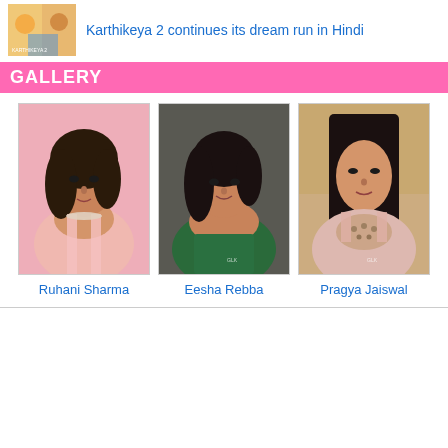[Figure (photo): Movie poster thumbnail for Karthikeya 2]
Karthikeya 2 continues its dream run in Hindi
GALLERY
[Figure (photo): Portrait photo of Ruhani Sharma in pink outfit against pink background]
Ruhani Sharma
[Figure (photo): Portrait photo of Eesha Rebba in dark green top]
Eesha Rebba
[Figure (photo): Portrait photo of Pragya Jaiswal in embellished outfit]
Pragya Jaiswal